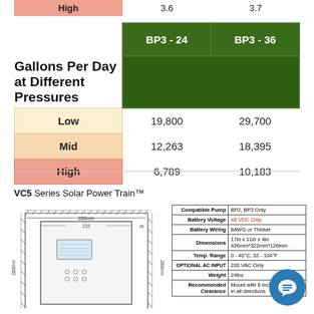|  | BP3 - 24 | BP3 - 36 |
| --- | --- | --- |
| High | 3.6 | 3.7 |
| Low | 19,800 | 29,700 |
| Mid | 12,263 | 18,395 |
| High | 6,789 | 10,183 |
VC5 Series Solar Power Train™
[Figure (engineering-diagram): Technical drawing of VC5 solar power train unit showing front view with dimensions: 200mm width, 210mm inner, 28mm side, 200mm height on each side. Shows a rectangular unit with display panel and vents.]
| Spec | Value |
| --- | --- |
| Compatible Pump | BP2, BP3 Only |
| Battery Voltage | 48 VDC Only |
| Battery Wiring | 8AWG or Thicker |
| Dimensions | 17in x 11in x 4in 426mm*322mm*126mm |
| Temp. Range | 0 - 40°C, 32 - 104°F |
| OPTIONAL AC INPUT | 220 VAC Only |
| Weight | 24lbs |
| Recommended Clearance | Mount with 8 inches of space in all directions |